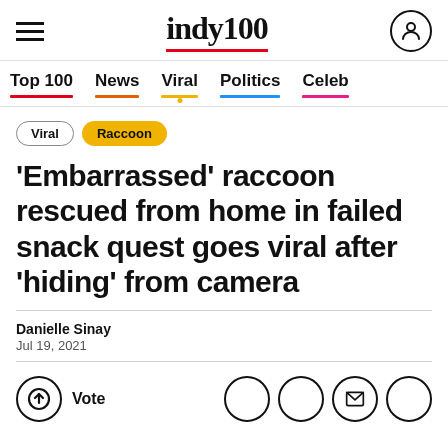indy100
Top 100  News  Viral  Politics  Celeb
Viral  Raccoon
'Embarrassed' raccoon rescued from home in failed snack quest goes viral after 'hiding' from camera
Danielle Sinay
Jul 19, 2021
Vote